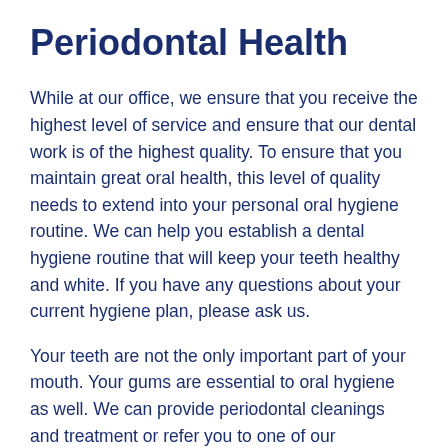Periodontal Health
While at our office, we ensure that you receive the highest level of service and ensure that our dental work is of the highest quality. To ensure that you maintain great oral health, this level of quality needs to extend into your personal oral hygiene routine. We can help you establish a dental hygiene routine that will keep your teeth healthy and white. If you have any questions about your current hygiene plan, please ask us.
Your teeth are not the only important part of your mouth. Your gums are essential to oral hygiene as well. We can provide periodontal cleanings and treatment or refer you to one of our recommended specialists. Please let us know